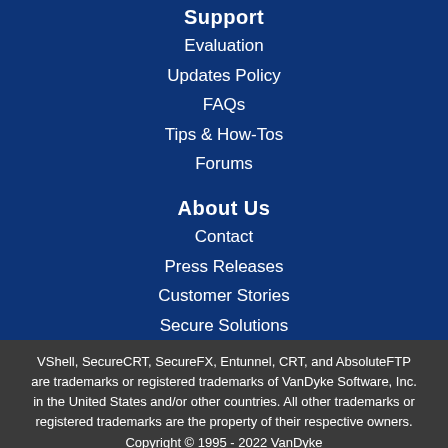Support
Evaluation
Updates Policy
FAQs
Tips & How-Tos
Forums
About Us
Contact
Press Releases
Customer Stories
Secure Solutions
VShell, SecureCRT, SecureFX, Entunnel, CRT, and AbsoluteFTP are trademarks or registered trademarks of VanDyke Software, Inc. in the United States and/or other countries. All other trademarks or registered trademarks are the property of their respective owners. Copyright © 1995 - 2022 VanDyke